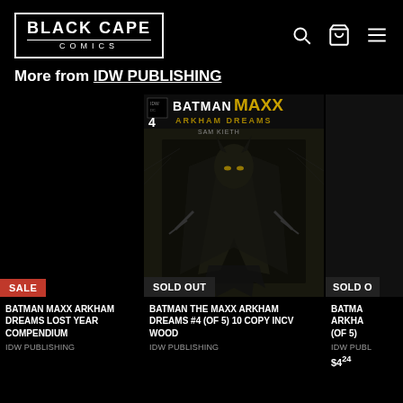BLACK CAPE COMICS
More from IDW PUBLISHING
[Figure (screenshot): Product listing page from Black Cape Comics website showing Batman Maxx Arkham Dreams comic issues with sale and sold out badges]
BATMAN MAXX ARKHAM DREAMS LOST YEAR COMPENDIUM
IDW PUBLISHING
BATMAN THE MAXX ARKHAM DREAMS #4 (OF 5) 10 COPY INCV WOOD
IDW PUBLISHING
BATMA ARKHA (OF 5)
IDW PUBL
$4.24